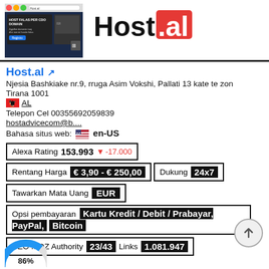[Figure (screenshot): Screenshot of Host.al website showing dark themed hosting page with text HOST FALAS PER CDO DOMAIN]
[Figure (logo): Host.al logo - black text 'Host' followed by red badge with white text '.al']
Host.al ↗
Njesia Bashkiake nr.9, rruga Asim Vokshi, Pallati 13 kate te zon
Tirana 1001
🇦🇱 AL
Telepon Cel 00355692059839
hostadvicecom@b....
Bahasa situs web: 🇺🇸 en-US
| Alexa Rating | 153.993 | ▼ -17.000 |
| Rentang Harga | € 3,90 - € 250,00 | Dukung | 24x7 |
| Tawarkan Mata Uang | EUR |
| Opsi pembayaran | Kartu Kredit / Debit / Prabayar, PayPal, Bitcoin |
| SEO MOZ Authority | 23/43 | Links | 1.081.947 |
[Figure (pie-chart): Partial pie/donut chart showing 86% at bottom of page]